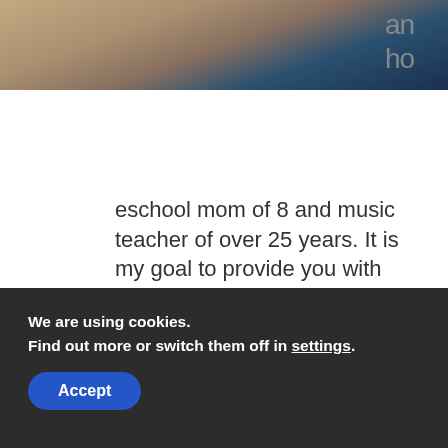[Figure (photo): Cropped photo of a woman with blonde hair wearing a blue top, partially visible at top of page]
an hom eschool mom of 8 and music teacher of over 25 years. It is my goal to provide you with articles about resources, tips, freebies, giveaways, and sales to help you include music in your homeschool! Contact me with any suggestions or questions. This website is here to help you! Read More...
We are using cookies. Find out more or switch them off in settings. Accept